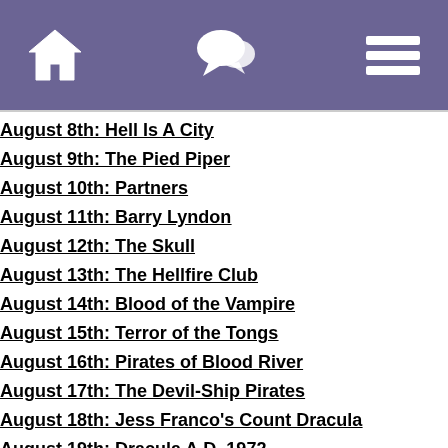Navigation bar with home, chat, and menu icons
August 8th: Hell Is A City
August 9th: The Pied Piper
August 10th: Partners
August 11th: Barry Lyndon
August 12th: The Skull
August 13th: The Hellfire Club
August 14th: Blood of the Vampire
August 15th: Terror of the Tongs
August 16th: Pirates of Blood River
August 17th: The Devil-Ship Pirates
August 18th: Jess Franco's Count Dracula
August 19th: Dracula A.D. 1972
August 20th: The Stranglers of Bombay
August 21st: Man, Woman & Child
August 22nd: The Little Girl Who Lives Down The Lane
August 23rd: The Young Philadelphians
August 24th: The Rack